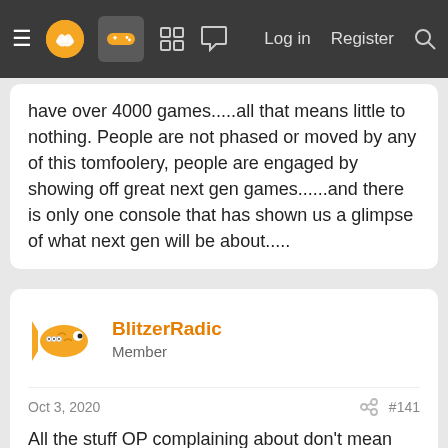Navigation bar with logo, gamepad icon, grid icon, chat icon, Log in, Register, Search
have over 4000 games.....all that means little to nothing. People are not phased or moved by any of this tomfoolery, people are engaged by showing off great next gen games......and there is only one console that has shown us a glimpse of what next gen will be about.....
BlitzerRadic
Member
Oct 3, 2020
#141
All the stuff OP complaining about don't mean shit. Like if a purchaser was genuinely bothered by it, then they'd go buy an xbox. But for the vast majority of people buying PS5 are probably in the same situation as I am: I'm ready to move on from PS4 and I'm not going to buy an xbox because I am in Sony's ecosystem. So the only option is PS5.